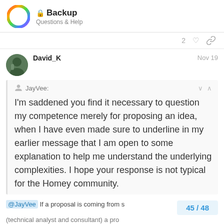Backup — Questions & Help
2 ♡ link
David_K  Nov 19
JayVee:
I'm saddened you find it necessary to question my competence merely for proposing an idea, when I have even made sure to underline in my earlier message that I am open to some explanation to help me understand the underlying complexities. I hope your response is not typical for the Homey community.
@JayVee If a proposal is coming from s  45 / 48
(technical analyst and consultant) a pro